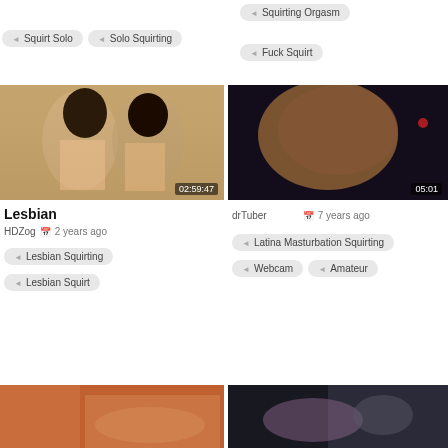Squirting Orgasm
Squirt Solo
Solo Squirting
Fuck Squirt
[Figure (photo): Two women facing each other closely, duration 02:59:47]
[Figure (photo): Close-up explicit content, duration 05:01]
Lesbian
HDZog   2 years ago
Lesbian Squirting
Lesbian Squirt
drTuber   7 years ago
Latina Masturbation Squirting
Webcam
Amateur
[Figure (photo): Bottom thumbnail left]
[Figure (photo): Bottom thumbnail right]